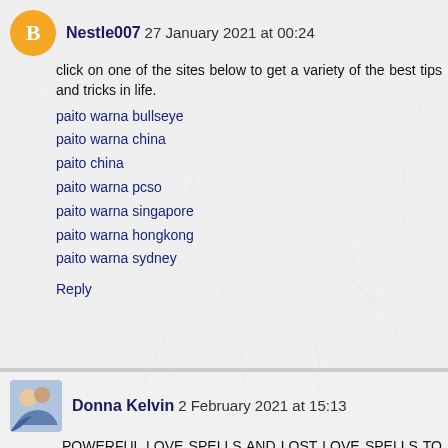Nestle007 27 January 2021 at 00:24
click on one of the sites below to get a variety of the best tips and tricks in life.
paito warna bullseye
paito warna china
paito china
paito warna pcso
paito warna singapore
paito warna hongkong
paito warna sydney
Reply
Donna Kelvin 2 February 2021 at 15:13
POWERFUL LOVE SPELLS AND LOST LOVE SPELLS TO BRING BACK LOST LOVER +2348118829899 USA, UK, FRANCE, CANADA, AUSTRALIA, NETHERLANDS, AUSTRIA, BELGIUM, IRELAND.

I've gotten back with my ex boyfriend with the help